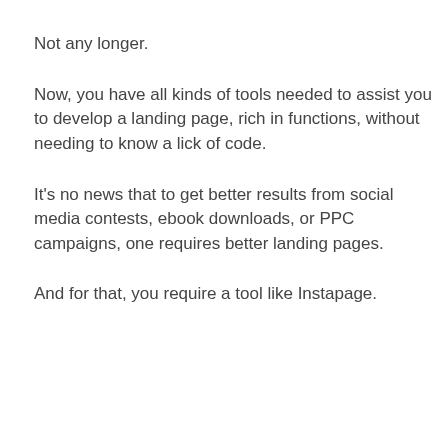Not any longer.
Now, you have all kinds of tools needed to assist you to develop a landing page, rich in functions, without needing to know a lick of code.
It’s no news that to get better results from social media contests, ebook downloads, or PPC campaigns, one requires better landing pages.
And for that, you require a tool like Instapage.